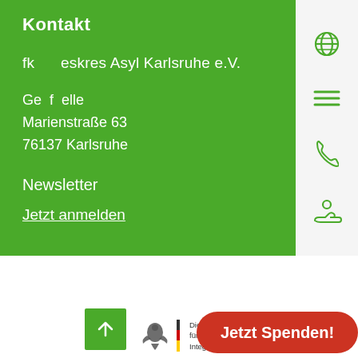Kontakt
fk___eskres Asyl Karlsruhe e.V.
Ge__f__elle
Marienstraße 63
76137 Karlsruhe
Newsletter
Jetzt anmelden
[Figure (other): Green back-to-top arrow button]
[Figure (logo): Die Beauftragte der Bundesregierung für Migration, Flüchtlinge Integration logo with eagle]
Jetzt Spenden!